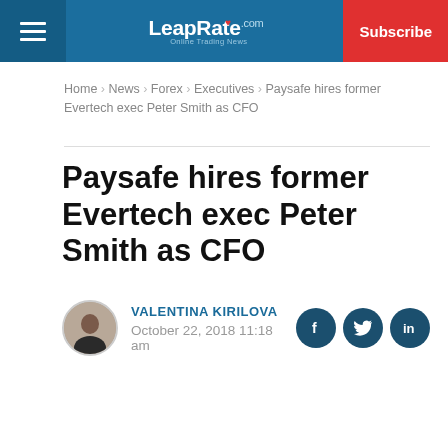LeapRate.com — Subscribe
Home › News › Forex › Executives › Paysafe hires former Evertech exec Peter Smith as CFO
Paysafe hires former Evertech exec Peter Smith as CFO
VALENTINA KIRILOVA — October 22, 2018 11:18 am